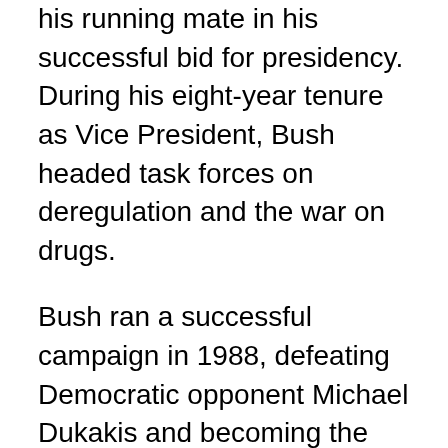his running mate in his successful bid for presidency. During his eight-year tenure as Vice President, Bush headed task forces on deregulation and the war on drugs.
Bush ran a successful campaign in 1988, defeating Democratic opponent Michael Dukakis and becoming the first incumbent Vice President to be elected President in 152 years. Foreign policy drove the Bush presidency; military operations were conducted in Panama and the Persian Gulf, the Berlin Wall fell in 1989, and the Soviet Union dissolved two years later. Bush also signed the North American Free Trade Agreement (NAFTA), which created a trade bloc consisting of the United States, Canada, and Mexico. Domestically, Bush reneged on a 1988 campaign promise and signed a bill to increase taxes. He lost the 1992 presidential election to Democrat Bill Clinton following an economic recession and the